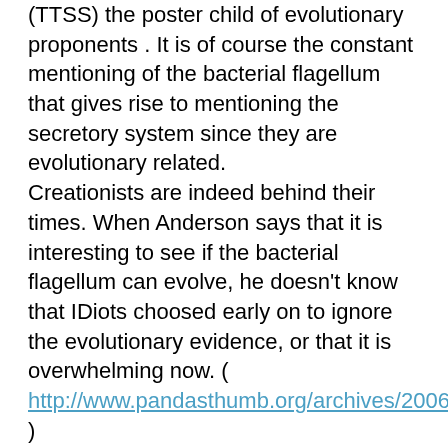(TTSS) the poster child of evolutionary proponents . It is of course the constant mentioning of the bacterial flagellum that gives rise to mentioning the secretory system since they are evolutionary related.
Creationists are indeed behind their times. When Anderson says that it is interesting to see if the bacterial flagellum can evolve, he doesn't know that IDiots choosed early on to ignore the evolutionary evidence, or that it is overwhelming now. ( http://www.pandasthumb.org/archives/2006/09/flagellum_evolu.html )
First, he ignores that secretory systems (SS's) and flagellums has common ancestors. ( http://www.pandasthumb.org/archives/2006/09/the_politically_10.html ) Second, he discuss the wrong SS with the wrong flagellum. Third, an elongated SS kinetic system has earlier degrees of freedom on motility than rotation-based. Fourth, the TTSS related part is only a fourth of the proteins in the eubacterial flagellum. Of 42 canonical proteins, 20 is needed